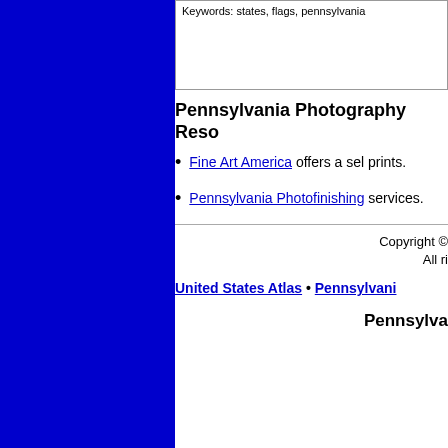Keywords: states, flags, pennsylvania
Pennsylvania Photography Reso
Fine Art America offers a sel prints.
Pennsylvania Photofinishing services.
Copyright © All ri
United States Atlas • Pennsylvani
Pennsylva